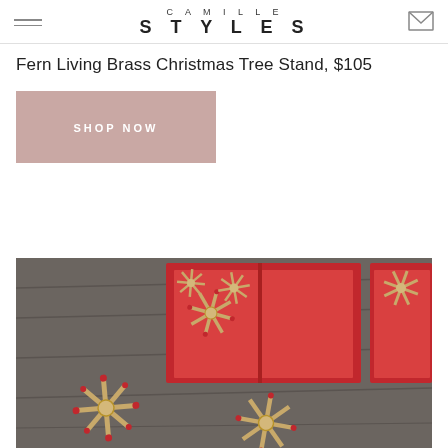CAMILLE STYLES
Fern Living Brass Christmas Tree Stand, $105
SHOP NOW
[Figure (photo): Red box containing straw star ornaments on a wooden surface, with additional straw stars scattered around]